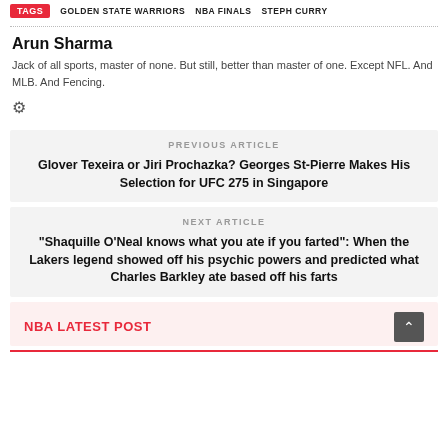TAGS  GOLDEN STATE WARRIORS  NBA FINALS  STEPH CURRY
Arun Sharma
Jack of all sports, master of none. But still, better than master of one. Except NFL. And MLB. And Fencing.
PREVIOUS ARTICLE
Glover Texeira or Jiri Prochazka? Georges St-Pierre Makes His Selection for UFC 275 in Singapore
NEXT ARTICLE
"Shaquille O'Neal knows what you ate if you farted": When the Lakers legend showed off his psychic powers and predicted what Charles Barkley ate based off his farts
NBA LATEST POST